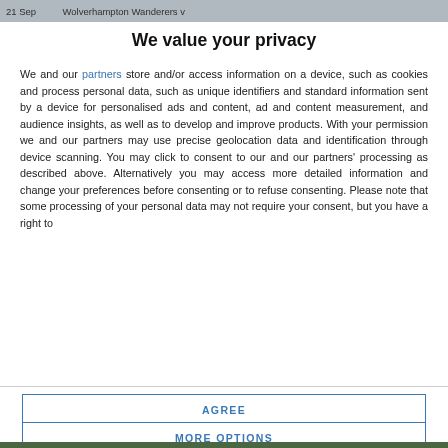21 Sep    Wolverhampton Wanderers v
We value your privacy
We and our partners store and/or access information on a device, such as cookies and process personal data, such as unique identifiers and standard information sent by a device for personalised ads and content, ad and content measurement, and audience insights, as well as to develop and improve products. With your permission we and our partners may use precise geolocation data and identification through device scanning. You may click to consent to our and our partners' processing as described above. Alternatively you may access more detailed information and change your preferences before consenting or to refuse consenting. Please note that some processing of your personal data may not require your consent, but you have a right to
AGREE
MORE OPTIONS